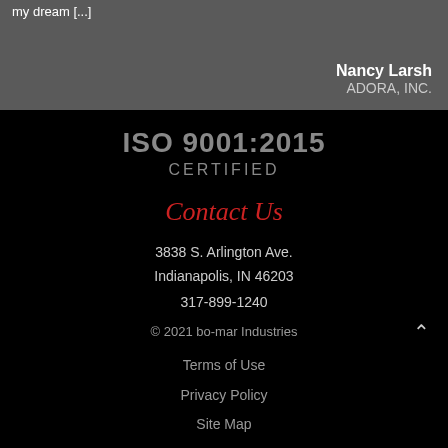my dream [...]
Nancy Larsh
ADORA, INC.
ISO 9001:2015
CERTIFIED
Contact Us
3838 S. Arlington Ave.
Indianapolis, IN 46203
317-899-1240
© 2021 bo-mar Industries
Terms of Use
Privacy Policy
Site Map